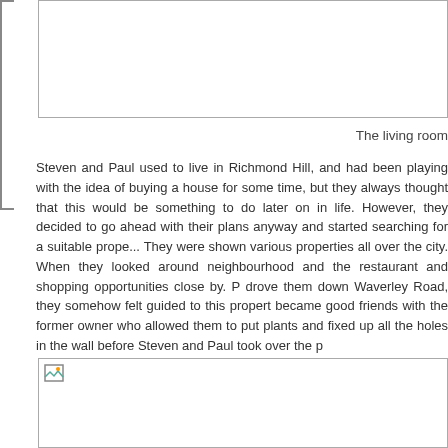[Figure (photo): Top image placeholder box, partially visible]
The living room
Steven and Paul used to live in Richmond Hill, and had been playing with the idea of buying a house for some time, but they always thought that this would be something to do later on in life. However, they decided to go ahead with their plans anyway and started searching for a suitable property in Toronto. Their estate agent were shown various properties all over the city. When they looked around this property they loved the neighbourhood and the restaurant and shopping opportunities close by. P... drove them down Waverley Road, they somehow felt guided to this property. They became good friends with the former owner who allowed them to put plants... and fixed up all the holes in the wall before Steven and Paul took over the p...
[Figure (photo): Bottom image placeholder box]